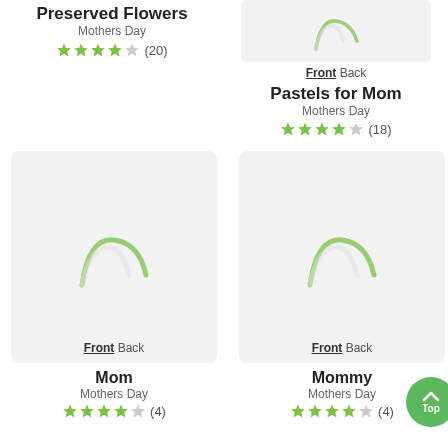Preserved Flowers
Mothers Day
★★★★☆ (20)
[Figure (screenshot): Card thumbnail placeholder with loading spinner arc for Pastels for Mom product]
Front Back
Pastels for Mom
Mothers Day
★★★★☆ (18)
[Figure (screenshot): Card thumbnail placeholder with loading spinner arc for Mom product]
Front Back
Mom
Mothers Day
★★★★☆ (4)
[Figure (screenshot): Card thumbnail placeholder with loading spinner arc for Mommy product]
Front Back
Mommy
Mothers Day
★★★★☆ (4)